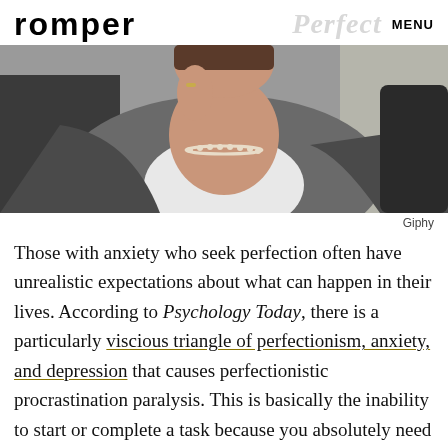romper | Perfect | MENU
[Figure (photo): Woman in grey blazer and white shirt with pearl necklace, holding phone to ear, photographed from below chin level]
Giphy
Those with anxiety who seek perfection often have unrealistic expectations about what can happen in their lives. According to Psychology Today, there is a particularly viscious triangle of perfectionism, anxiety, and depression that causes perfectionistic procrastination paralysis. This is basically the inability to start or complete a task because you absolutely need